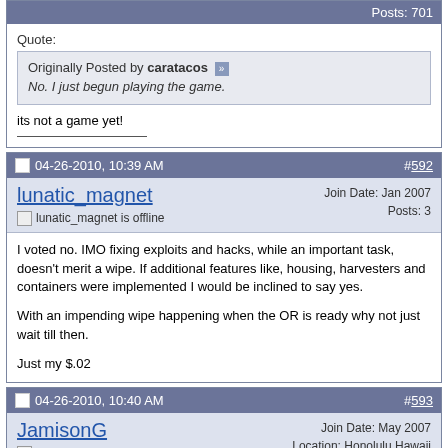Posts: 701
Quote:
Originally Posted by caratacos
No. I just begun playing the game.
its not a game yet!
04-26-2010, 10:39 AM   #592
lunatic_magnet  lunatic_magnet is offline  Join Date: Jan 2007  Posts: 3
I voted no. IMO fixing exploits and hacks, while an important task, doesn't merit a wipe. If additional features like, housing, harvesters and containers were implemented I would be inclined to say yes.

With an impending wipe happening when the OR is ready why not just wait till then.

Just my $.02
04-26-2010, 10:40 AM   #593
JamisonG  JamisonG is offline  Join Date: May 2007  Location: Honolulu Hawaii  Posts: 5